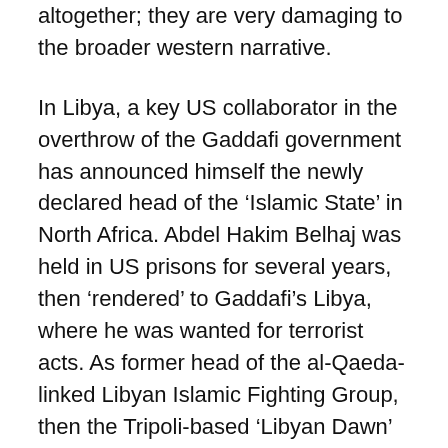altogether; they are very damaging to the broader western narrative.
In Libya, a key US collaborator in the overthrow of the Gaddafi government has announced himself the newly declared head of the ‘Islamic State’ in North Africa. Abdel Hakim Belhaj was held in US prisons for several years, then ‘rendered’ to Gaddafi’s Libya, where he was wanted for terrorist acts. As former head of the al-Qaeda-linked Libyan Islamic Fighting Group, then the Tripoli-based ‘Libyan Dawn’ group, Belhaj has been defended by Washington and praised by US Congressmen John McCain and Lindsey Graham.
Some image softening of the al Qaeda groups is underway. Jabhat al-Nusra is reported to be considering cutting ties to al Qaeda, to help sponsor Qatar boost their